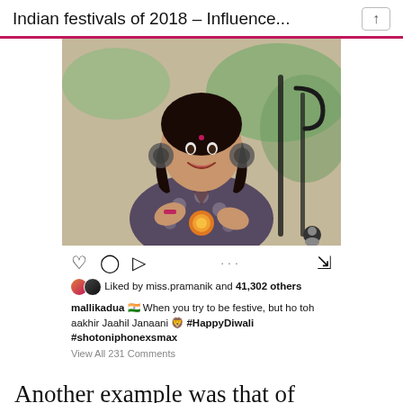Indian festivals of 2018 – Influence...
[Figure (screenshot): Instagram post by mallikadua showing a woman in a printed kurta holding an orange marigold flower, smiling outdoors. Post shows likes by miss.pramanik and 41,302 others. Caption: When you try to be festive, but ho toh aakhir Jaahil Janaani #HappyDiwali #shotoniphonexsmax. View All 231 Comments.]
Another example was that of thatbohogirl, a popular Instagram influencer and a fashion